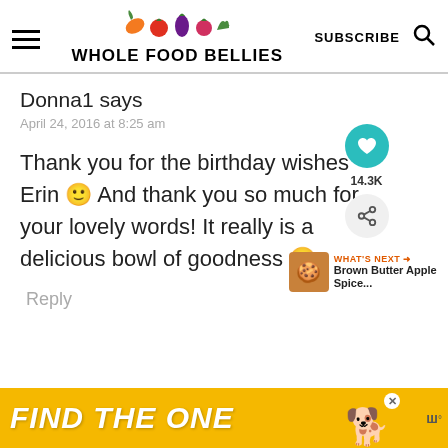WHOLE FOOD BELLIES
Donna1 says
April 24, 2016 at 8:25 am
Thank you for the birthday wishes Erin 🙂 And thank you so much for your lovely words! It really is a delicious bowl of goodness 🙂
Reply
[Figure (screenshot): Ad banner at the bottom with yellow background reading FIND THE ONE with a dog image]
WHAT'S NEXT → Brown Butter Apple Spice...